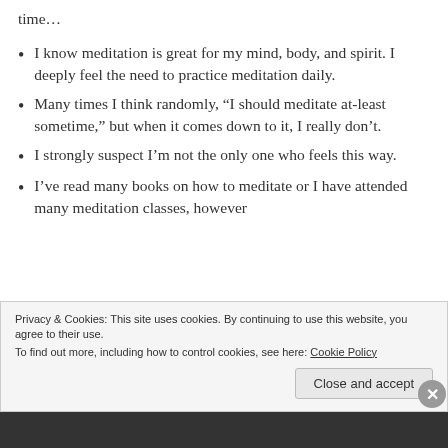time...
I know meditation is great for my mind, body, and spirit. I deeply feel the need to practice meditation daily.
Many times I think randomly, “I should meditate at-least sometime,” but when it comes down to it, I really don’t.
I strongly suspect I’m not the only one who feels this way.
I’ve read many books on how to meditate or I have attended many meditation classes, however
Privacy & Cookies: This site uses cookies. By continuing to use this website, you agree to their use.
To find out more, including how to control cookies, see here: Cookie Policy
Close and accept